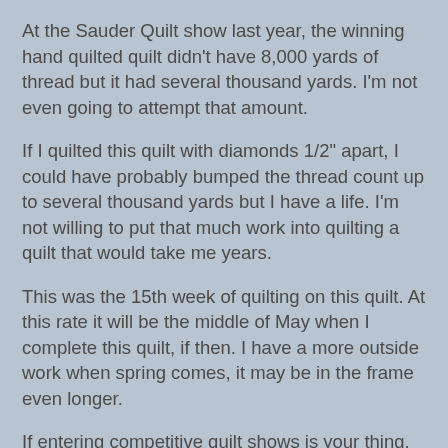At the Sauder Quilt show last year, the winning hand quilted quilt didn't have 8,000 yards of thread but it had several thousand yards. I'm not even going to attempt that amount.
If I quilted this quilt with diamonds 1/2" apart, I could have probably bumped the thread count up to several thousand yards but I have a life. I'm not willing to put that much work into quilting a quilt that would take me years.
This was the 15th week of quilting on this quilt. At this rate it will be the middle of May when I complete this quilt, if then. I have a more outside work when spring comes, it may be in the frame even longer.
If entering competitive quilt shows is your thing, go for it and I wish you well.